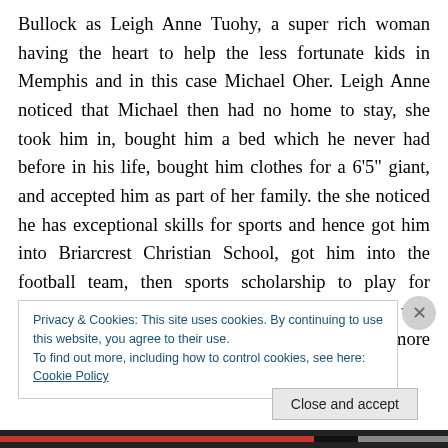Bullock as Leigh Anne Tuohy, a super rich woman having the heart to help the less fortunate kids in Memphis and in this case Michael Oher. Leigh Anne noticed that Michael then had no home to stay, she took him in, bought him a bed which he never had before in his life, bought him clothes for a 6'5" giant, and accepted him as part of her family. the she noticed he has exceptional skills for sports and hence got him into Briarcrest Christian School, got him into the football team, then sports scholarship to play for University of Mississippi and last August, he was drafted as an Offensive Tackle for the Baltimore Ravens of
Privacy & Cookies: This site uses cookies. By continuing to use this website, you agree to their use.
To find out more, including how to control cookies, see here: Cookie Policy
Close and accept